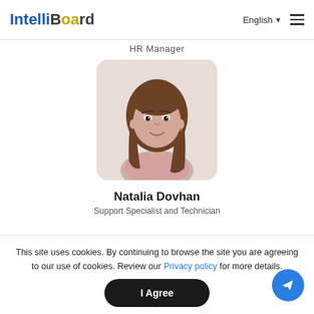IntelliBoard | English ☰
HR Manager
[Figure (photo): Profile photo of a young woman with long brown hair, smiling, wearing a pink top, with a rounded rectangle frame.]
Natalia Dovhan
Support Specialist and Technician
This site uses cookies. By continuing to browse the site you are agreeing to our use of cookies. Review our Privacy policy for more details.
I Agree